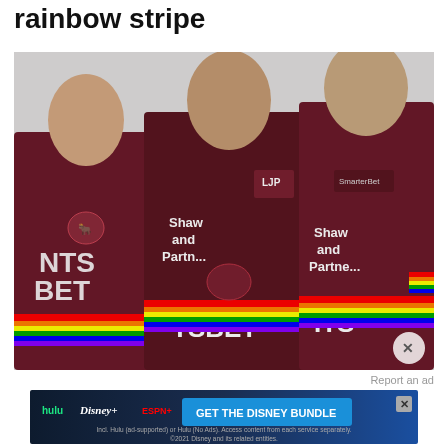rainbow stripe
[Figure (photo): Three rugby league players wearing maroon jerseys with rainbow stripe design (Shaw and Partners / Sportsbet sponsorship) looking downward, photographed against a light background.]
Report an ad
[Figure (screenshot): Advertisement banner for Disney Bundle featuring Hulu, Disney+, and ESPN+ logos with blue gradient background and 'GET THE DISNEY BUNDLE' call to action button. Fine print reads: Incl. Hulu (ad-supported) or Hulu (No Ads). Access content from each service separately. ©2021 Disney and its related entities.]